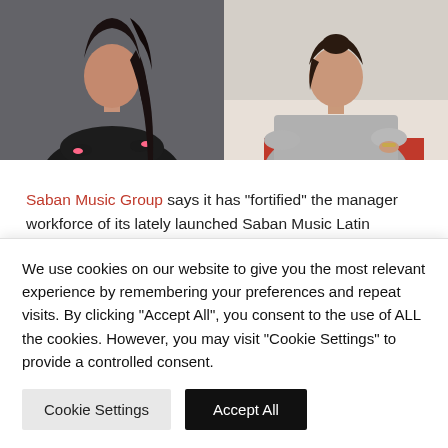[Figure (photo): Two women photographed side by side. Left: woman in black blazer with arms crossed against gray background. Right: woman in gray t-shirt seated, with gold bracelet, against light background.]
Saban Music Group says it has “fortified” the manager workforce of its lately launched Saban Music Latin division by hiring Liclasso as Vice President of Latin Advertising and
We use cookies on our website to give you the most relevant experience by remembering your preferences and repeat visits. By clicking “Accept All”, you consent to the use of ALL the cookies. However, you may visit “Cookie Settings” to provide a controlled consent.